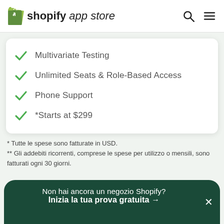shopify app store
Multivariate Testing
Unlimited Seats & Role-Based Access
Phone Support
*Starts at $299
* Tutte le spese sono fatturate in USD.
** Gli addebiti ricorrenti, comprese le spese per utilizzo o mensili, sono fatturati ogni 30 giorni.
Non hai ancora un negozio Shopify? Inizia la tua prova gratuita →